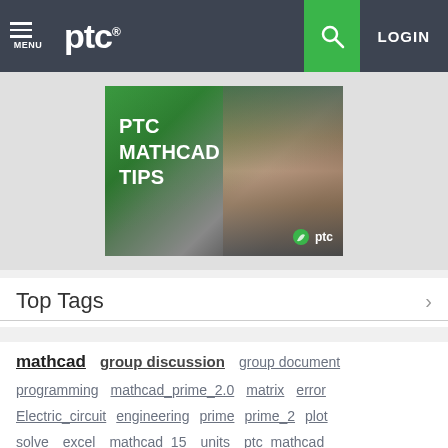MENU  ptc®  LOGIN
[Figure (photo): PTC Mathcad Tips banner image showing hands holding a tablet/notebook with 'PTC MATHCAD TIPS' text overlay and PTC logo]
Top Tags
mathcad  group discussion  group document
programming  mathcad_prime_2.0  matrix  error
Electric_circuit  engineering  prime  prime_2  plot
solve  excel  mathcad_15  units  ptc_mathcad